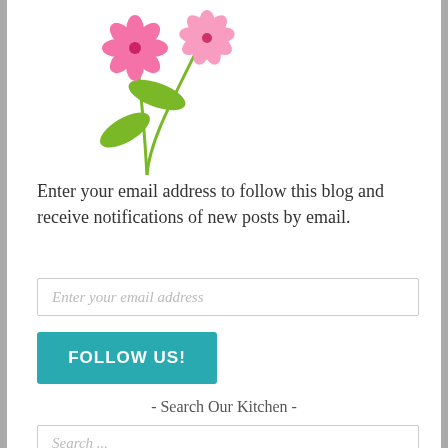[Figure (illustration): Two pink flowers with green stems and leaves illustration in the upper portion of the page]
Enter your email address to follow this blog and receive notifications of new posts by email.
Enter your email address
FOLLOW US!
- Search Our Kitchen -
Search ...